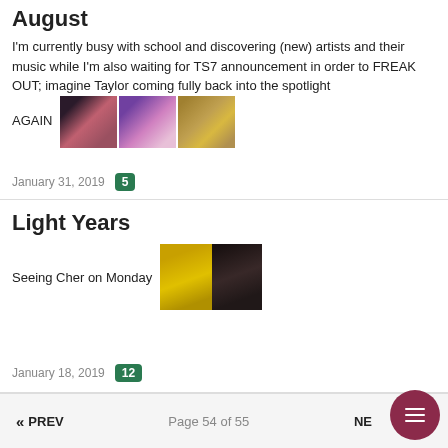August
I'm currently busy with school and discovering (new) artists and their music while I'm also waiting for TS7 announcement in order to FREAK OUT; imagine Taylor coming fully back into the spotlight AGAIN
[Figure (photo): Three small meme/reaction images side by side]
January 31, 2019  5
Light Years
Seeing Cher on Monday
[Figure (photo): Two overlapping reaction meme images - yellow note and dark face]
January 18, 2019  12
« PREV   Page 54 of 55   NE